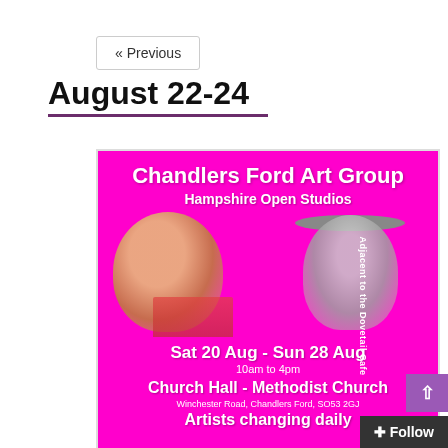« Previous
August 22-24
[Figure (illustration): Promotional poster for Chandlers Ford Art Group Hampshire Open Studios event. Hot pink/magenta background with two painted portrait silhouettes. Text reads: Chandlers Ford Art Group, Hampshire Open Studios, Sat 20 Aug - Sun 28 Aug, 10am to 4pm, Church Hall - Methodist Church, Winchester Road, Chandlers Ford, SO53 2GJ, Artists changing daily. Vertical side text: Adjacent to the Dovetail Cafe.]